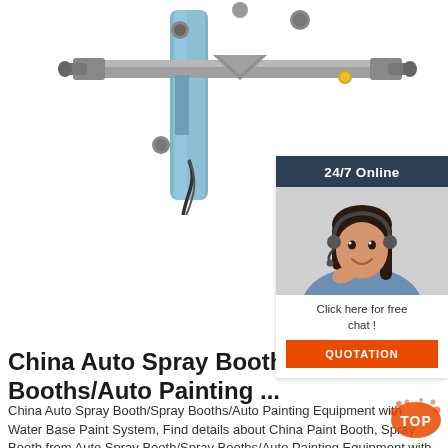[Figure (photo): Industrial auto spray booth machine equipment photo, showing spray arms/nozzles on a blue cylindrical post against white background]
[Figure (photo): 24/7 Online chat widget with a smiling female customer service representative wearing a headset, dark navy header saying '24/7 Online', 'Click here for free chat!' text, and an orange QUOTATION button]
China Auto Spray Booth/Spray Booths/Auto Painting ...
China Auto Spray Booth/Spray Booths/Auto Painting Equipment with Water Base Paint System, Find details about China Paint Booth, Spray Booth from Auto Spray Booth/Spray Booths/Auto Painting Equipment with Water Base Paint System - Guangzhou Infitech Mechanical and ...
[Figure (logo): TOP logo in orange/red with paint splatter design]